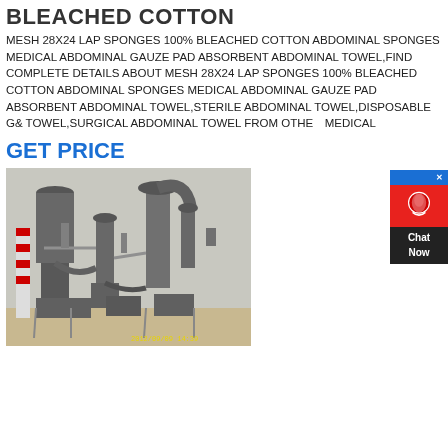BLEACHED COTTON
MESH 28X24 LAP SPONGES 100% BLEACHED COTTON ABDOMINAL SPONGES MEDICAL ABDOMINAL GAUZE PAD ABSORBENT ABDOMINAL TOWEL,FIND COMPLETE DETAILS ABOUT MESH 28X24 LAP SPONGES 100% BLEACHED COTTON ABDOMINAL SPONGES MEDICAL ABDOMINAL GAUZE PAD ABSORBENT ABDOMINAL TOWEL,STERILE ABDOMINAL TOWEL,DISPOSABLE GA TOWEL,SURGICAL ABDOMINAL TOWEL FROM OTHER MEDICAL
GET PRICE
[Figure (photo): Industrial facility with large grey metal processing equipment, cyclones and hoppers, with a striped chimney visible in the background. Timestamp shown: 2012/09/09 14:39]